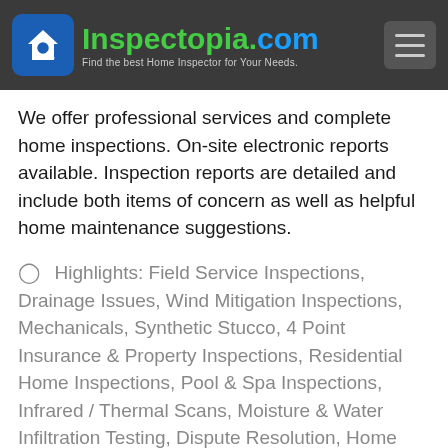Inspectopia.com — Find the best Home Inspector for Your Needs.
We offer professional services and complete home inspections. On-site electronic reports available. Inspection reports are detailed and include both items of concern as well as helpful home maintenance suggestions.
⊙ Highlights: Field Service Inspections, Drainage Issues, Wind Mitigation Inspections, Mechanicals, Synthetic Stucco, 4 Point Insurance & Property Inspections, Residential Home Inspections, Pool & Spa Inspections, Infrared / Thermal Scans, Moisture & Water Infiltration Testing, Dispute Resolution, Home Inspection Reports Within 24 Hours w/ Photos, Available 7 Days A Week, Licensed & Insured, Home Check Services, Insulation & Ventilation Issues, Flat Roof Surveys, Radon Gas